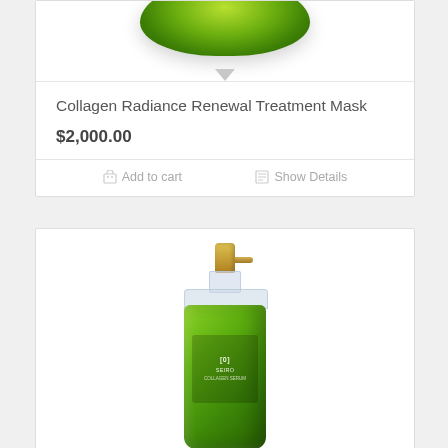[Figure (photo): Green cosmetic jar lid / treatment mask container, partially visible at top of card]
Collagen Radiance Renewal Treatment Mask
$2,000.00
Add to cart   Show Details
[Figure (photo): Green pump-dispenser serum bottle with gold pump mechanism and green label, partially cropped at bottom]